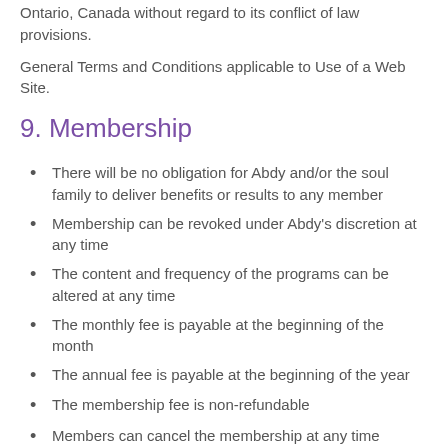…shall be governed by the laws of Ontario, Canada without regard to its conflict of law provisions.
General Terms and Conditions applicable to Use of a Web Site.
9. Membership
There will be no obligation for Abdy and/or the soul family to deliver benefits or results to any member
Membership can be revoked under Abdy's discretion at any time
The content and frequency of the programs can be altered at any time
The monthly fee is payable at the beginning of the month
The annual fee is payable at the beginning of the year
The membership fee is non-refundable
Members can cancel the membership at any time
Upon membership, each member